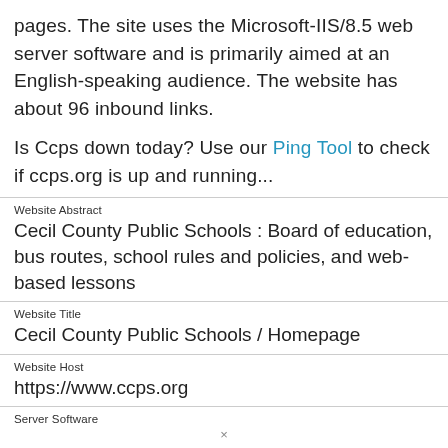pages. The site uses the Microsoft-IIS/8.5 web server software and is primarily aimed at an English-speaking audience. The website has about 96 inbound links.
Is Ccps down today? Use our Ping Tool to check if ccps.org is up and running...
Website Abstract
Cecil County Public Schools : Board of education, bus routes, school rules and policies, and web-based lessons
Website Title
Cecil County Public Schools / Homepage
Website Host
https://www.ccps.org
Server Software